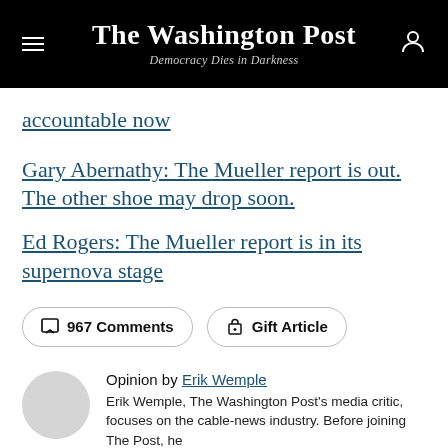The Washington Post — Democracy Dies in Darkness
accountable now
Gary Abernathy: The Mueller report is out. The other shoe may drop soon.
Ed Rogers: The Mueller report is in its supernova stage
967 Comments | Gift Article
Opinion by Erik Wemple
Erik Wemple, The Washington Post's media critic, focuses on the cable-news industry. Before joining The Post, he

operation, and for eight years served as editor of